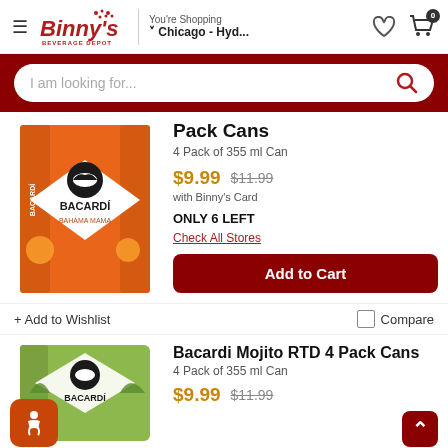Binny's Beverage Depot — You're Shopping Chicago - Hyd...
I am looking for...
Pack Cans
4 Pack of 355 ml Can
$9.99  $11.99 with Binny's Card
ONLY 6 LEFT
Check All Stores
Add to Cart
+ Add to Wishlist
Compare
Bacardi Mojito RTD 4 Pack Cans
4 Pack of 355 ml Can
$9.99  $11.99